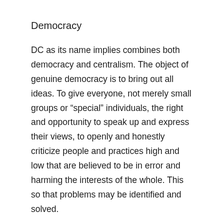Democracy
DC as its name implies combines both democracy and centralism. The object of genuine democracy is to bring out all ideas. To give everyone, not merely small groups or “special” individuals, the right and opportunity to speak up and express their views, to openly and honestly criticize people and practices high and low that are believed to be in error and harming the interests of the whole. This so that problems may be identified and solved.
In this process various different ideas are allowed to struggle with each other through reasoned debate and discussion, not coercion or violence. And people are allowed to vent anger and frustration but